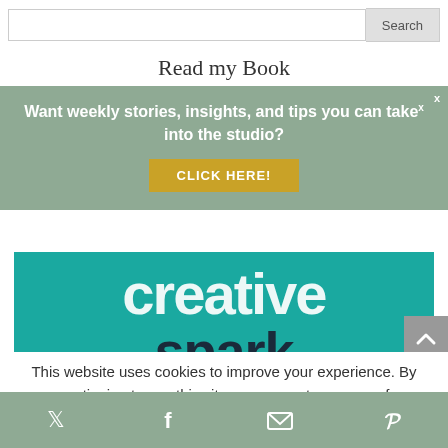[Figure (screenshot): Search bar with text input and Search button]
Read my Book
Want weekly stories, insights, and tips you can take into the studio?
CLICK HERE!
[Figure (photo): Book cover for 'creative spark: re-igniting your creativity with everyday wisdom' on teal background with abstract artwork]
This website uses cookies to improve your experience. By continuing to use this site, you agree to our use of
[Figure (other): Footer social media bar with Twitter, Facebook, email, and Pinterest icons on sage green background]